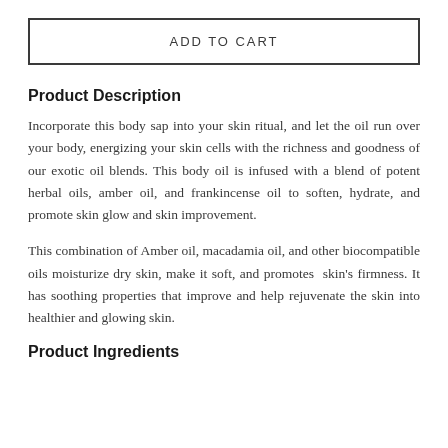ADD TO CART
Product Description
Incorporate this body sap into your skin ritual, and let the oil run over your body, energizing your skin cells with the richness and goodness of our exotic oil blends. This body oil is infused with a blend of potent herbal oils, amber oil, and frankincense oil to soften, hydrate, and promote skin glow and skin improvement.
This combination of Amber oil, macadamia oil, and other biocompatible oils moisturize dry skin, make it soft, and promotes  skin's firmness. It has soothing properties that improve and help rejuvenate the skin into healthier and glowing skin.
Product Ingredients